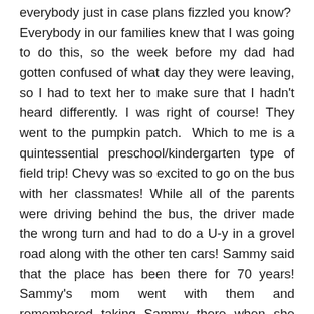everybody just in case plans fizzled you know? Everybody in our families knew that I was going to do this, so the week before my dad had gotten confused of what day they were leaving, so I had to text her to make sure that I hadn't heard differently. I was right of course! They went to the pumpkin patch. Which to me is a quintessential preschool/kindergarten type of field trip! Chevy was so excited to go on the bus with her classmates! While all of the parents were driving behind the bus, the driver made the wrong turn and had to do a U-y in a grovel road along with the other ten cars! Sammy said that the place has been there for 70 years! Sammy's mom went with them and remembered taking Sammy there when she was in school. I remember going to a pumpkin patch, whether or it was the same one is still unknown. I had to rolled around in a wagon the whole time. I only say that because we have proof of it! They were only there for about three hours, for all that they